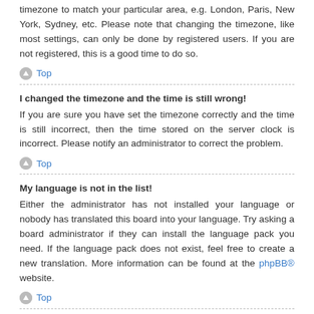timezone to match your particular area, e.g. London, Paris, New York, Sydney, etc. Please note that changing the timezone, like most settings, can only be done by registered users. If you are not registered, this is a good time to do so.
Top
I changed the timezone and the time is still wrong!
If you are sure you have set the timezone correctly and the time is still incorrect, then the time stored on the server clock is incorrect. Please notify an administrator to correct the problem.
Top
My language is not in the list!
Either the administrator has not installed your language or nobody has translated this board into your language. Try asking a board administrator if they can install the language pack you need. If the language pack does not exist, feel free to create a new translation. More information can be found at the phpBB® website.
Top
What are the images next to my username?
There are two images which may appear along with a username when viewing posts. One of them may be an image associated with your rank,